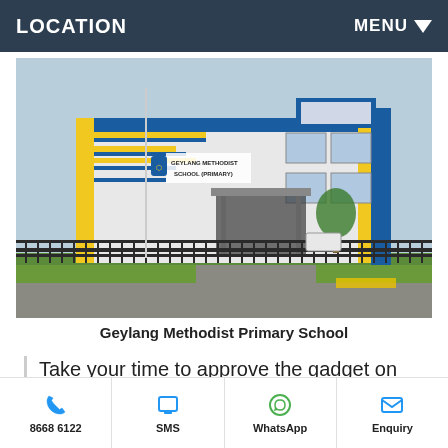LOCATION    MENU ▼
[Figure (photo): Photo of Geylang Methodist School (Primary) building — blue and yellow facade with school name signage, entrance canopy, fencing in foreground]
Geylang Methodist Primary School
Take your time to approve the gadget on the weekend and discover new details, see facilities and site plan now!
8668 6122   SMS   WhatsApp   Enquiry